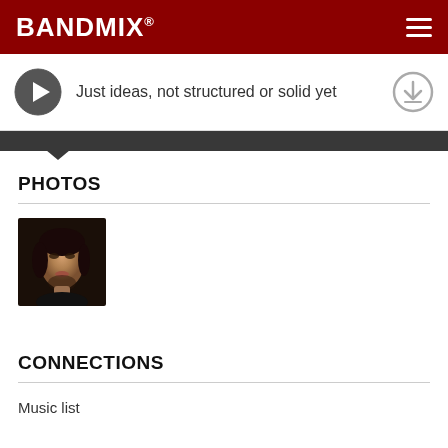BANDMIX®
Just ideas, not structured or solid yet
PHOTOS
[Figure (photo): Close-up portrait photo of a young woman with dark hair against a dark background]
CONNECTIONS
Music list